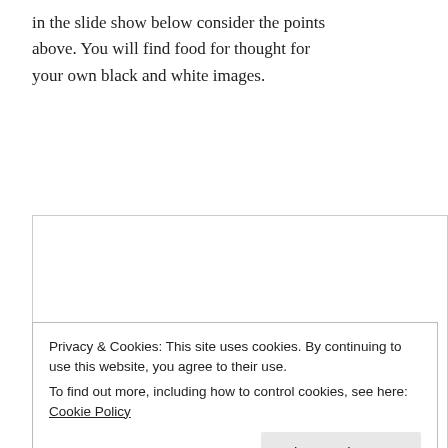in the slide show below consider the points above. You will find food for thought for your own black and white images.
[Figure (other): Slideshow embedded content area with border, mostly empty/white with a bullet point on the left side]
Privacy & Cookies: This site uses cookies. By continuing to use this website, you agree to their use.
To find out more, including how to control cookies, see here: Cookie Policy
Close and accept